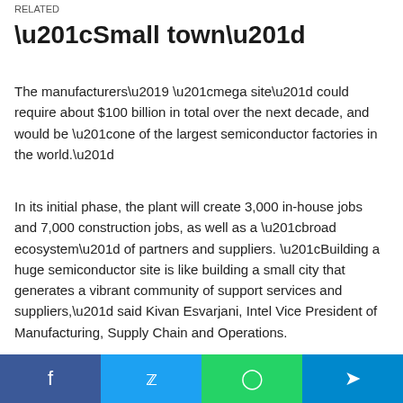RELATED
“Small town”
The manufacturers’ “mega site” could require about $100 billion in total over the next decade, and would be “one of the largest semiconductor factories in the world.”
In its initial phase, the plant will create 3,000 in-house jobs and 7,000 construction jobs, as well as a “broad ecosystem” of partners and suppliers. “Building a huge semiconductor site is like building a small city that generates a vibrant community of support services and suppliers,” said Kivan Esvarjani, Intel Vice President of Manufacturing, Supply Chain and Operations.
f  ·  🐦  ·  💬  ·  ➡